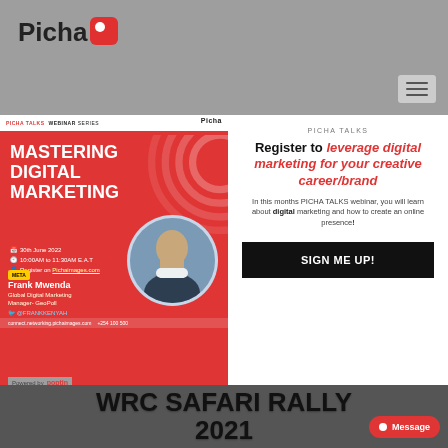[Figure (screenshot): Picha website screenshot showing a popup modal for a webinar signup, overlaid on a red poster for 'Mastering Digital Marketing' event with Frank Mwenda speaker, and a bottom banner for WRC Safari Rally 2021]
WRC SAFARI RALLY 2021